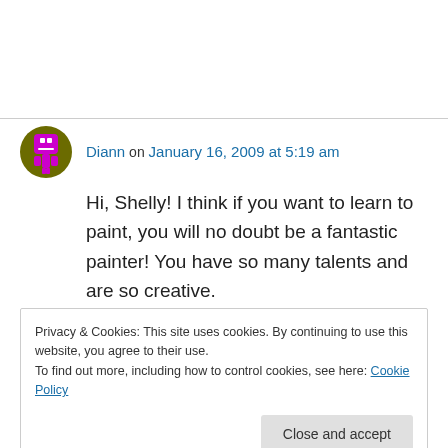Diann on January 16, 2009 at 5:19 am
Hi, Shelly! I think if you want to learn to paint, you will no doubt be a fantastic painter! You have so many talents and are so creative.
↳ Reply
Privacy & Cookies: This site uses cookies. By continuing to use this website, you agree to their use.
To find out more, including how to control cookies, see here: Cookie Policy
Close and accept